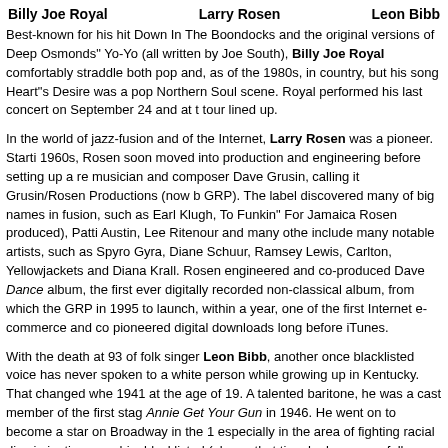Billy Joe Royal    Larry Rosen    Leon Bibb
Best-known for his hit Down In The Boondocks and the original versions of Deep Osmonds" Yo-Yo (all written by Joe South), Billy Joe Royal comfortably straddle both pop and, as of the 1980s, in country, but his song Heart"s Desire was a pop Northern Soul scene. Royal performed his last concert on September 24 and at t tour lined up.
In the world of jazz-fusion and of the Internet, Larry Rosen was a pioneer. Starti 1960s, Rosen soon moved into production and engineering before setting up a re musician and composer Dave Grusin, calling it Grusin/Rosen Productions (now b GRP). The label discovered many of big names in fusion, such as Earl Klugh, To Funkin" For Jamaica Rosen produced), Patti Austin, Lee Ritenour and many othe include many notable artists, such as Spyro Gyra, Diane Schuur, Ramsey Lewis, Carlton, Yellowjackets and Diana Krall. Rosen engineered and co-produced Dave Dance album, the first ever digitally recorded non-classical album, from which the GRP in 1995 to launch, within a year, one of the first Internet e-commerce and co pioneered digital downloads long before iTunes.
With the death at 93 of folk singer Leon Bibb, another once blacklisted voice has never spoken to a white person while growing up in Kentucky. That changed whe 1941 at the age of 19. A talented baritone, he was a cast member of the first stag Annie Get Your Gun in 1946. He went on to become a star on Broadway in the 1 especially in the area of fighting racial discrimination, saw him blacklisted (alongs that time he became a folk singer, keeping the company of the likes of Pete Seeg Newport Folk Festival. With the blacklist abolished, he appeared many times on A engagements of the Ed Sullivan Show. In 1969 he moved to Vancouver. He conti Canad...